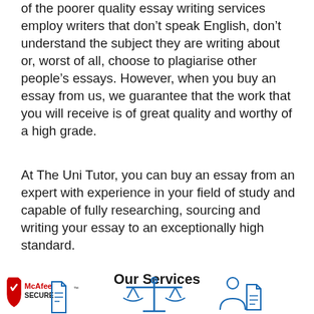of the poorer quality essay writing services employ writers that don't speak English, don't understand the subject they are writing about or, worst of all, choose to plagiarise other people's essays. However, when you buy an essay from us, we guarantee that the work that you will receive is of great quality and worthy of a high grade.
At The Uni Tutor, you can buy an essay from an expert with experience in your field of study and capable of fully researching, sourcing and writing your essay to an exceptionally high standard.
Our Services
[Figure (illustration): McAfee SECURE logo on left, a scales of justice icon in center, and a person with document icon on right, all in blue/red outline style]